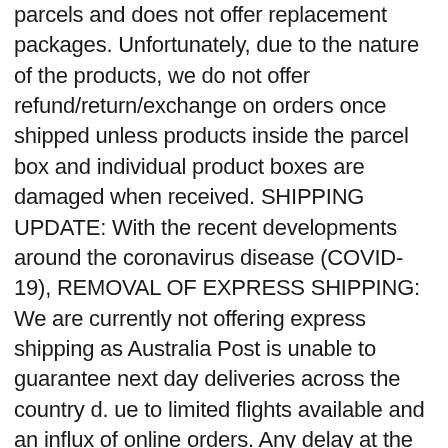parcels and does not offer replacement packages. Unfortunately, due to the nature of the products, we do not offer refund/return/exchange on orders once shipped unless products inside the parcel box and individual product boxes are damaged when received. SHIPPING UPDATE: With the recent developments around the coronavirus disease (COVID-19), REMOVAL OF EXPRESS SHIPPING: We are currently not offering express shipping as Australia Post is unable to guarantee next day deliveries across the country d. ue to limited flights available and an influx of online orders. Any delay at the destination countries is beyond the control of Nudie Glow. Nudie Glow is not responsible for lost or stolen packages, unless it is lost or stolen during transit. is free from SkinCarisma flagged Paraben. Please allow up to 12 hours for tracking to show as it takes time between packing and first scan when onboard for delivery. Once delivery completed, any lost or stolen items will be the responsibility of the customer and no replacements will be offered by Nudie Glow. Once your return is received and inspected, we will send you an email to notify you that we have received your returned item. The EU's Scientific Committee on Consumer Safety (SCCS) has identified and established 26 cosmetic